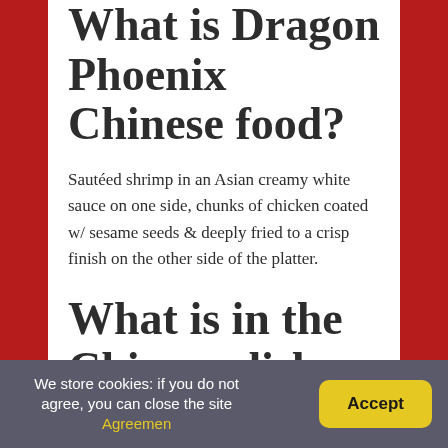What is Dragon Phoenix Chinese food?
Sautéed shrimp in an Asian creamy white sauce on one side, chunks of chicken coated w/ sesame seeds & deeply fried to a crisp finish on the other side of the platter.
What is in the Chinese dish Hawaii Five O?
What is Chinese food called Hawaii five o? Diced chicken & roast pork, shrimp, scallops, crab
We store cookies: if you do not agree, you can close the site Agreemen   Accept